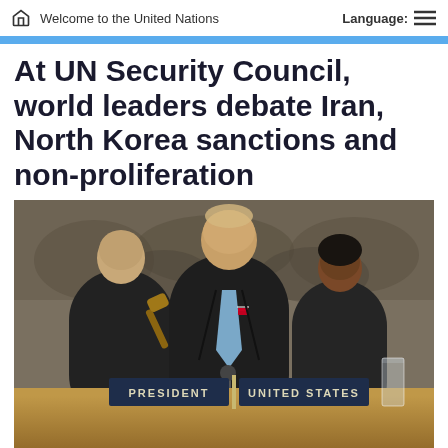Welcome to the United Nations    Language:
At UN Security Council, world leaders debate Iran, North Korea sanctions and non-proliferation
[Figure (photo): Photo of a world leader speaking at the UN Security Council podium with PRESIDENT and UNITED STATES nameplates, flanked by two officials, in the UN Security Council chamber]